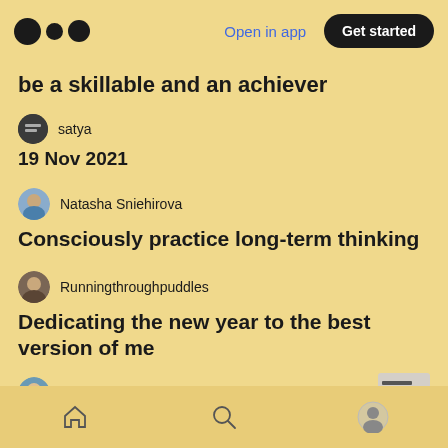Open in app | Get started
be a skillable and an achiever
satya
19 Nov 2021
Natasha Sniehirova
Consciously practice long-term thinking
Runningthroughpuddles
Dedicating the new year to the best version of me
Carmella Guiol
Home | Search | Profile